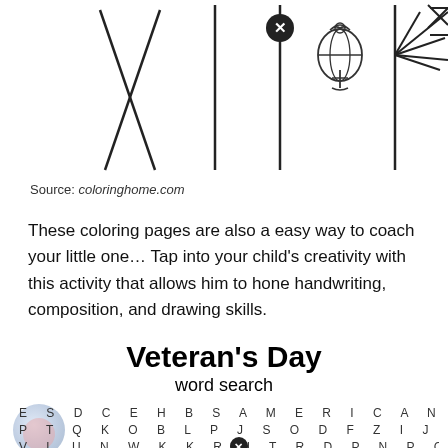[Figure (illustration): Line drawings of military/Veterans Day related symbols: crossed poles/flags, a flagpole with X badge, a Marine Corps eagle globe anchor emblem, a flagpole, and a compass/arrow burst symbol]
Source: coloringhome.com
These coloring pages are also a easy way to coach your little one… Tap into your child's creativity with this activity that allows him to hone handwriting, composition, and drawing skills.
Veteran's Day
word search
[Figure (other): Veteran's Day word search grid with letters: E S D C E H B S A M E R I C A N K S L B / P T Q K O B L P J S O D F Z I J D N V J / V L U N W K K R N T R D P N P C B A L G / C A T L E H R Y L V I S X N J R R I S]